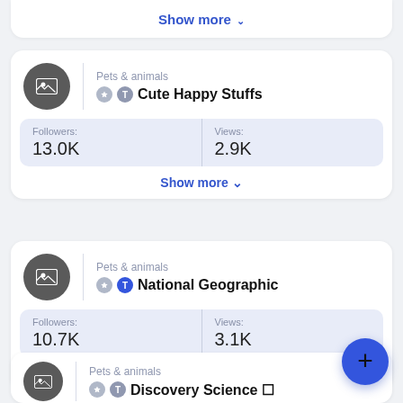Show more
[Figure (screenshot): Channel card for Cute Happy Stuffs: Pets & animals category, verified badge, T badge, 13.0K followers, 2.9K views, Show more button]
[Figure (screenshot): Channel card for National Geographic: Pets & animals category, verified badge, blue T badge, 10.7K followers, 3.1K views, Show more button]
[Figure (screenshot): Partial channel card for Discovery Science: Pets & animals category, verified badge, T badge]